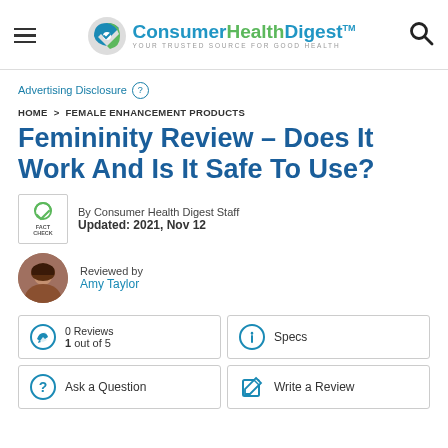Consumer Health Digest — Your Trusted Source For Good Health
Advertising Disclosure
HOME > FEMALE ENHANCEMENT PRODUCTS
Femininity Review – Does It Work And Is It Safe To Use?
By Consumer Health Digest Staff
Updated: 2021, Nov 12
Reviewed by
Amy Taylor
0 Reviews
1 out of 5
Specs
Ask a Question
Write a Review